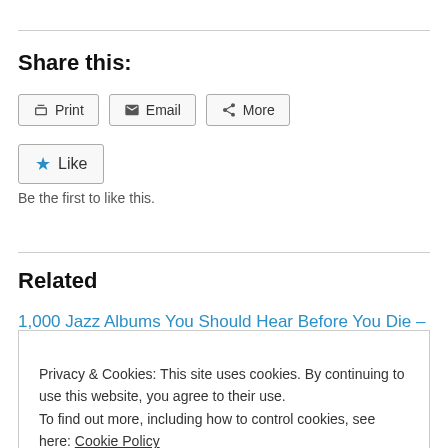Share this:
Print   Email   More
★ Like
Be the first to like this.
Related
1,000 Jazz Albums You Should Hear Before You Die – The First 500
Privacy & Cookies: This site uses cookies. By continuing to use this website, you agree to their use.
To find out more, including how to control cookies, see here: Cookie Policy
Close and accept